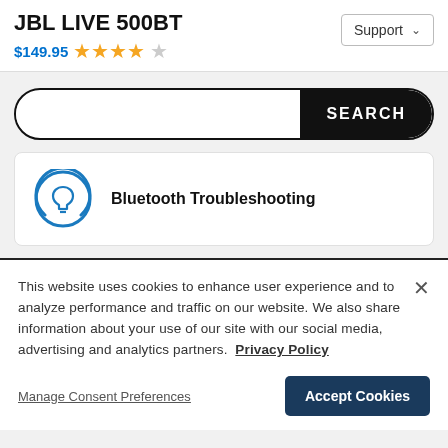JBL LIVE 500BT
$149.95 ★★★★☆
Support
[Figure (screenshot): Search bar with black SEARCH button on right side]
Bluetooth Troubleshooting
This website uses cookies to enhance user experience and to analyze performance and traffic on our website. We also share information about your use of our site with our social media, advertising and analytics partners. Privacy Policy
Manage Consent Preferences
Accept Cookies